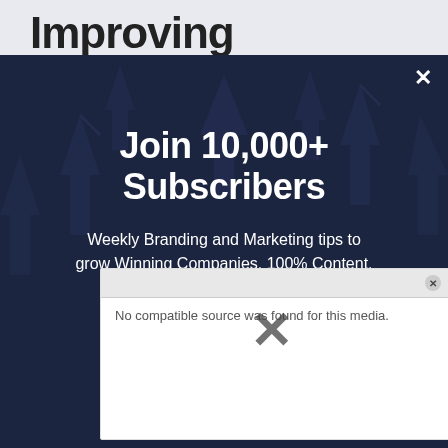Join 10,000+ Subscribers
Weekly Branding and Marketing tips to grow Winning Companies. 100% Content, 0% Spam.
[Figure (screenshot): Video player error overlay showing 'No compatible source was found for this media.' message with a large X close button, partially overlapping the modal]
3. Delivery-oriented sa...
The transactional nature of the collaboration fostered on a crowdsourcing platform allows for interactions which are always oriented towards a 'deliverable' or a clear
Email...